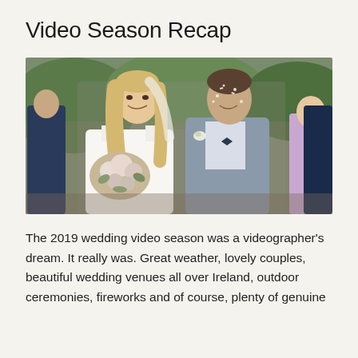Video Season Recap
[Figure (photo): Wedding couple walking and smiling while confetti is thrown at them. The bride has long blonde hair and holds a bouquet of white and pink flowers. The groom wears a grey checked suit with a bow tie and white boutonniere. Guests surround them in the background in a garden/outdoor setting.]
The 2019 wedding video season was a videographer's dream. It really was. Great weather, lovely couples, beautiful wedding venues all over Ireland, outdoor ceremonies, fireworks and of course, plenty of genuine